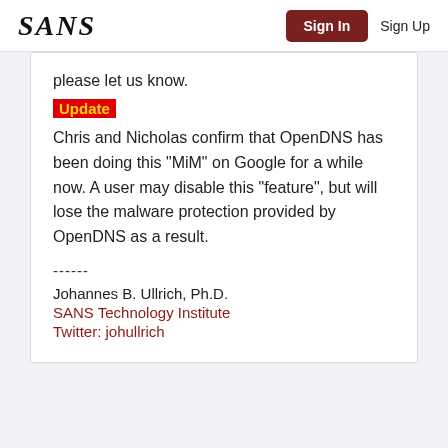SANS  Sign In  Sign Up
please let us know.
Update
Chris and Nicholas confirm that OpenDNS has been doing this "MiM" on Google for a while now. A user may disable this "feature", but will lose the malware protection provided by OpenDNS as a result.
------
Johannes B. Ullrich, Ph.D.
SANS Technology Institute
Twitter: johullrich